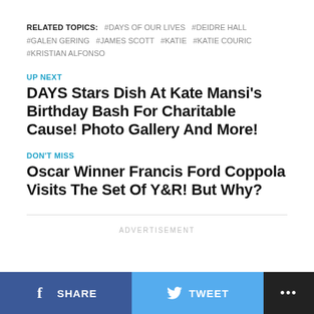RELATED TOPICS: #DAYS OF OUR LIVES #DEIDRE HALL #GALEN GERING #JAMES SCOTT #KATIE #KATIE COURIC #KRISTIAN ALFONSO
UP NEXT
DAYS Stars Dish At Kate Mansi's Birthday Bash For Charitable Cause! Photo Gallery And More!
DON'T MISS
Oscar Winner Francis Ford Coppola Visits The Set Of Y&R! But Why?
ADVERTISEMENT
SHARE  TWEET  ...